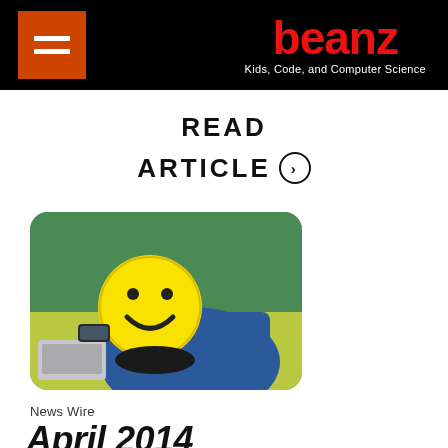beanz – Kids, Code, and Computer Science
READ
ARTICLE ›
[Figure (photo): Person lying on a table holding a large yellow smiley face balloon or mask over their face, with a laptop and smartphone visible on the table. Green-tinted background.]
News Wire
April 2014